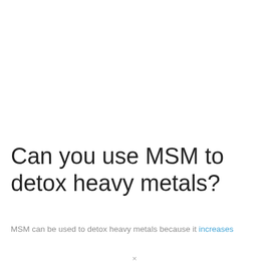Can you use MSM to detox heavy metals?
MSM can be used to detox heavy metals because it increases
×